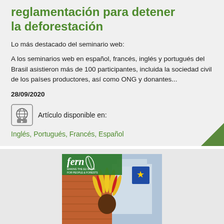reglamentación para detener la deforestación
Lo más destacado del seminario web:
A los seminarios web en español, francés, inglés y portugués del Brasil asistieron más de 100 participantes, incluida la sociedad civil de los países productores, así como ONG y donantes...
28/09/2020
Artículo disponible en:
Inglés, Portugués, Francés, Español
[Figure (photo): Cover of Fern publication showing an indigenous person wearing a colorful feathered headdress in front of a European building, with the Fern logo overlay reading 'fern - Making the EU work for people & forests']